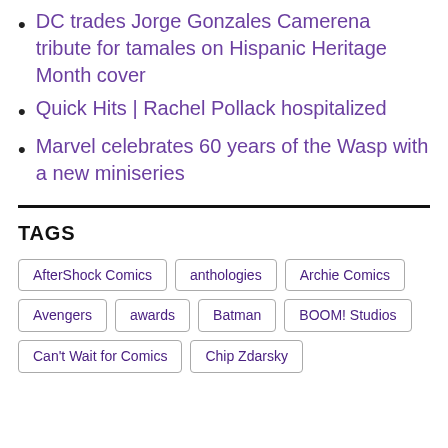DC trades Jorge Gonzales Camerena tribute for tamales on Hispanic Heritage Month cover
Quick Hits | Rachel Pollack hospitalized
Marvel celebrates 60 years of the Wasp with a new miniseries
TAGS
AfterShock Comics | anthologies | Archie Comics | Avengers | awards | Batman | BOOM! Studios | Can't Wait for Comics | Chip Zdarsky